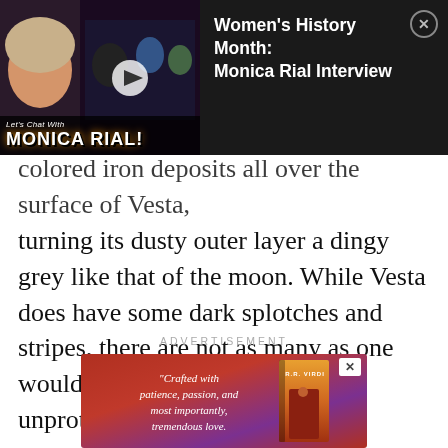[Figure (screenshot): Video notification overlay for 'Women's History Month: Monica Rial Interview' showing a thumbnail with the Let's Chat with Monica Rial branding and anime characters on a dark background, with a close button (X).]
colored iron deposits all over the surface of Vesta, turning its dusty outer layer a dingy grey like that of the moon. While Vesta does have some dark splotches and stripes, there are not as many as one would expect on such an old and unprotected denizen of the solar system.
ADVERTISEMENT
[Figure (photo): Book advertisement banner in red/purple gradient. Left side has italic quote: "Crafted with patience, passion, and most importantly, tremendous love." Right side shows a book cover for R.R. Virdi with a figure in red. Close button (X) in top right corner.]